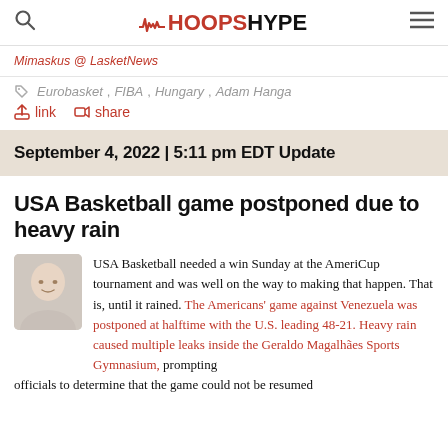HOOPSHYPE
Mimaskus @ LasketNews
Eurobasket, FIBA, Hungary, Adam Hanga
link  share
September 4, 2022 | 5:11 pm EDT Update
USA Basketball game postponed due to heavy rain
USA Basketball needed a win Sunday at the AmeriCup tournament and was well on the way to making that happen. That is, until it rained. The Americans' game against Venezuela was postponed at halftime with the U.S. leading 48-21. Heavy rain caused multiple leaks inside the Geraldo Magalhães Sports Gymnasium, prompting officials to determine that the game could not be resumed